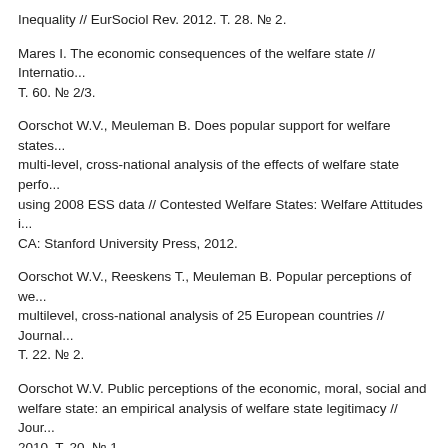Inequality // EurSociol Rev. 2012. T. 28. № 2.
Mares I. The economic consequences of the welfare state // Internatio... T. 60. № 2/3.
Oorschot W.V., Meuleman B. Does popular support for welfare states... multi-level, cross-national analysis of the effects of welfare state perfo... using 2008 ESS data // Contested Welfare States: Welfare Attitudes i... CA: Stanford University Press, 2012.
Oorschot W.V., Reeskens T., Meuleman B. Popular perceptions of we... multilevel, cross-national analysis of 25 European countries // Journal... T. 22. № 2.
Oorschot W.V. Public perceptions of the economic, moral, social and welfare state: an empirical analysis of welfare state legitimacy // Jour... 2010. T. 20. № 1.
Reeskens T., Oorschot W.V. Equity, Equality or Need?Explaining Pref... Redistribution Principles across 23 European Countries. Valencia, 8–
Scruggs L., Allan J. Welfare-state decommodification in 18 OECD cou... Journal of European Social Policy. 2006. T. 16. № 1.
Содержание номера № 11, 2014